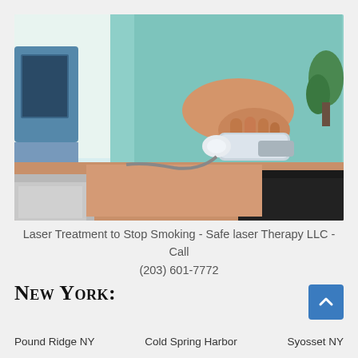[Figure (photo): A medical professional in a light blue/teal scrub top applying a laser therapy device to a patient's lower back/abdomen area. The patient is lying down, wearing dark clothing. Medical equipment visible in background.]
Laser Treatment to Stop Smoking - Safe laser Therapy LLC - Call (203) 601-7772
New York:
Pound Ridge NY    Cold Spring Harbor    Syosset NY